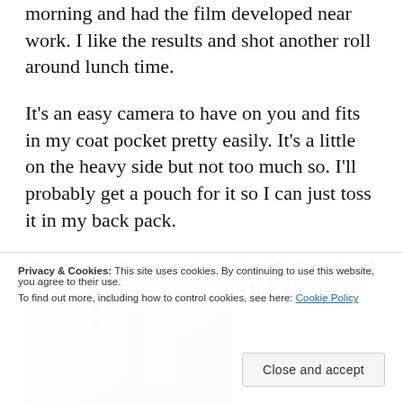morning and had the film developed near work. I like the results and shot another roll around lunch time.
It's an easy camera to have on you and fits in my coat pocket pretty easily. It's a little on the heavy side but not too much so. I'll probably get a pouch for it so I can just toss it in my back pack.
These samples were from the CD I received when I developed the roll. All I did was re-size them but this gives a good idea of what this little c…
[Figure (photo): Partial photograph visible at the bottom of the page showing what appears to be a building or architectural structure in black and white or muted tones, partially obscured by the cookie consent banner.]
Privacy & Cookies: This site uses cookies. By continuing to use this website, you agree to their use.
To find out more, including how to control cookies, see here: Cookie Policy
Close and accept